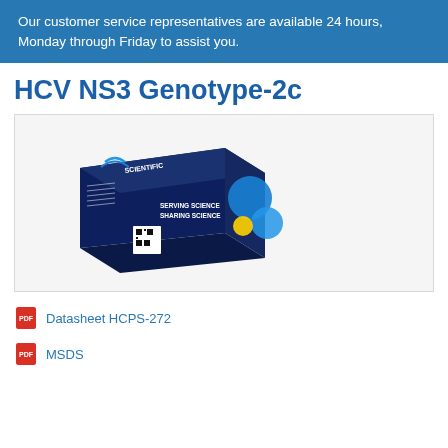Our customer service representatives are available 24 hours, Monday through Friday to assist you.
HCV NS3 Genotype-2c
[Figure (photo): Product box for HCV NS3 Genotype-2c - dark blue box with 'SCIENTIFIC' branding, showing 'SERVING SCIENCE SHARING SCIENCE' text, a QR code, and decorative blue spheres]
Datasheet HCPS-272
MSDS